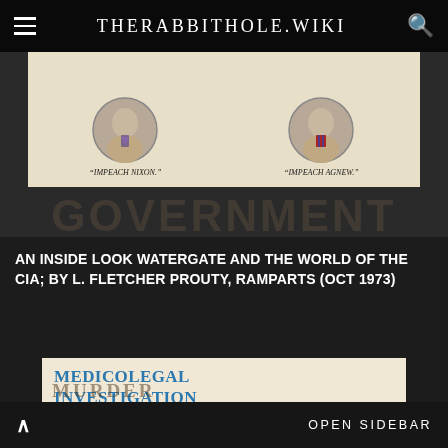THERABBITHOLE.WIKI
[Figure (photo): Book cover with two circular portrait photographs; captions read "IMPEACH NIXON." and "IMPEACH AGNEW." respectively, on a cream/tan background. Partial text 'GOVERNMENT' visible in dark background.]
AN INSIDE LOOK WATERGATE AND THE WORLD OF THE CIA; BY L. FLETCHER PROUTY, RAMPARTS (OCT 1973)
[Figure (photo): Book cover page reading 'MEDICOLEGAL INVESTIGATION OF THE PRESIDENT JOHN F. KENNEDY' with 'MURDER' partially visible at bottom, in blue serif text on cream background.]
OPEN SIDEBAR